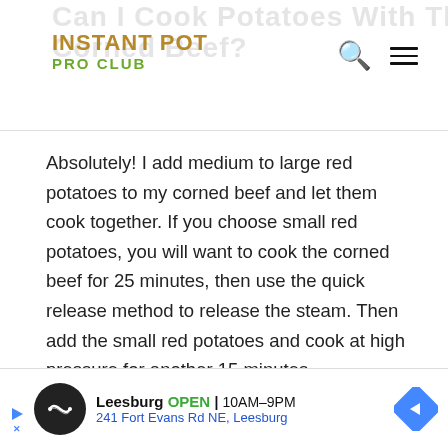INSTANT POT PRO CLUB
Absolutely! I add medium to large red potatoes to my corned beef and let them cook together. If you choose small red potatoes, you will want to cook the corned beef for 25 minutes, then use the quick release method to release the steam. Then add the small red potatoes and cook at high pressure for another 15 minutes.
[Figure (screenshot): Advertisement banner for Leesburg store showing open hours 10AM-9PM and address 241 Fort Evans Rd NE, Leesburg with navigation arrow icon]